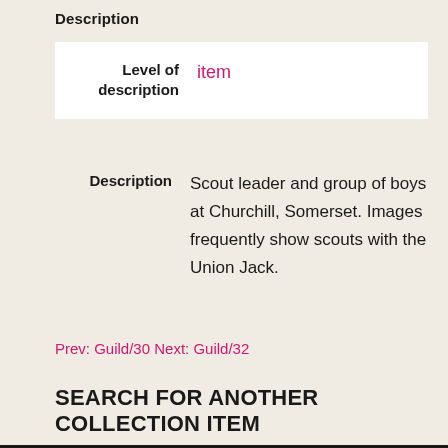Description
| Field | Value |
| --- | --- |
| Level of description | item |
| Field | Value |
| --- | --- |
| Description | Scout leader and group of boys at Churchill, Somerset. Images frequently show scouts with the Union Jack. |
Prev: Guild/30 Next: Guild/32
SEARCH FOR ANOTHER COLLECTION ITEM